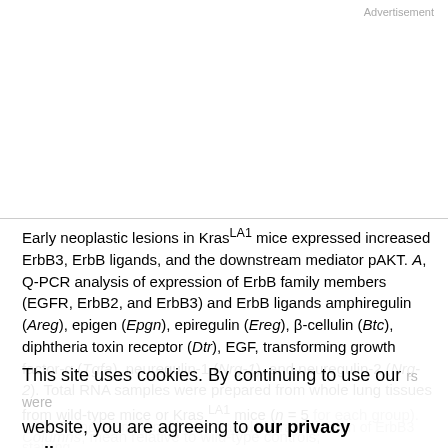Advertisement
Early neoplastic lesions in KrasLA1 mice expressed increased ErbB3, ErbB ligands, and the downstream mediator pAKT. A, Q-PCR analysis of expression of ErbB family members (EGFR, ErbB2, and ErbB3) and ErbB ligands amphiregulin (Areg), epigen (Epgn), epiregulin (Ereg), β-cellulin (Btc), diphtheria toxin receptor (Dtr), EGF, transforming growth factor-α (Tgfa), neuregulin-1 (Nrg-1), and neuregulin-2 (Nrg-2). Total RNA samples were prepared from whole lung tissues from wild-type mice or Kras LA1 mice (n = 5 for each group). Columns, mean relative to wild-type controls; errors were sample ↑, significantly different gene expression in Kras LA1 versus wild-type mice. B and C, Immunohistochemical characterization of ErbB3 staining
This site uses cookies. By continuing to use our website, you are agreeing to our privacy policy.
Accept